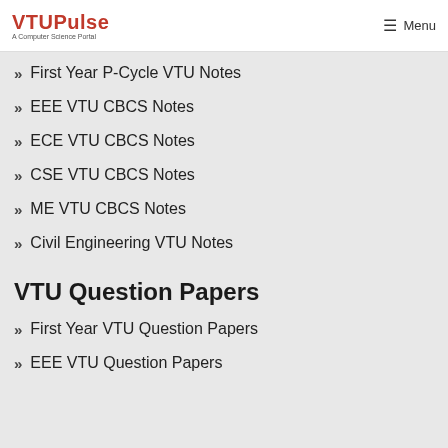VTUPulse — A Computer Science Portal | Menu
» First Year P-Cycle VTU Notes
» EEE VTU CBCS Notes
» ECE VTU CBCS Notes
» CSE VTU CBCS Notes
» ME VTU CBCS Notes
» Civil Engineering VTU Notes
VTU Question Papers
» First Year VTU Question Papers
» EEE VTU Question Papers